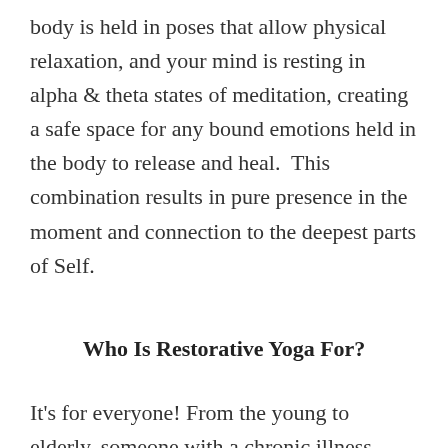body is held in poses that allow physical relaxation, and your mind is resting in alpha & theta states of meditation, creating a safe space for any bound emotions held in the body to release and heal.  This combination results in pure presence in the moment and connection to the deepest parts of Self.
Who Is Restorative Yoga For?
It's for everyone! From the young to elderly, someone with a chronic illness